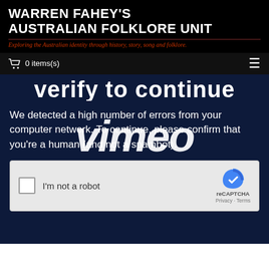WARREN FAHEY'S AUSTRALIAN FOLKLORE UNIT
Exploring the Australian identity through history, story, song and folklore.
0 items(s)
[Figure (screenshot): Vimeo CAPTCHA verification page embedded within Warren Fahey's Australian Folklore Unit website. Shows partial heading 'verify to continue', Vimeo watermark logo overlaid in white italic text, error message about high number of errors, and a reCAPTCHA checkbox widget.]
We detected a high number of errors from your computer network. To continue, please confirm that you’re a human (and not a spambot).
I'm not a robot
reCAPTCHA
Privacy - Terms